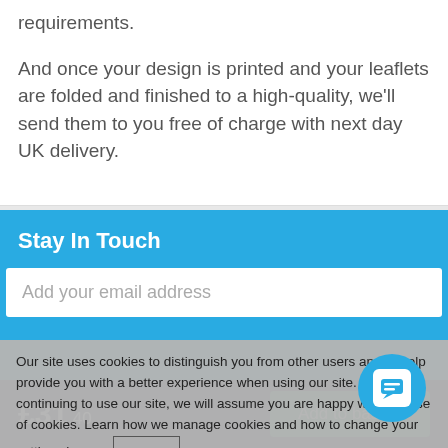requirements.
And once your design is printed and your leaflets are folded and finished to a high-quality, we'll send them to you free of charge with next day UK delivery.
Stay In Touch
Add your email address
Our site uses cookies to distinguish you from other users and to help provide you with a better experience when using our site. By continuing to use our site, we will assume you are happy with our use of cookies. Learn how we manage cookies and how to change your settings here.
OK
£31.40
Add to basket